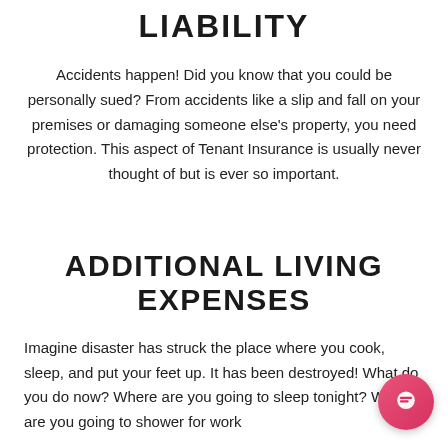LIABILITY
Accidents happen! Did you know that you could be personally sued? From accidents like a slip and fall on your premises or damaging someone else's property, you need protection. This aspect of Tenant Insurance is usually never thought of but is ever so important.
ADDITIONAL LIVING EXPENSES
Imagine disaster has struck the place where you cook, sleep, and put your feet up. It has been destroyed! What do you do now? Where are you going to sleep tonight? Where are you going to shower for work